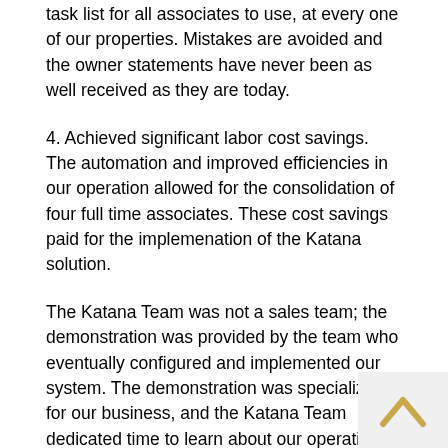task list for all associates to use, at every one of our properties. Mistakes are avoided and the owner statements have never been as well received as they are today.
4. Achieved significant labor cost savings. The automation and improved efficiencies in our operation allowed for the consolidation of four full time associates. These cost savings paid for the implemenation of the Katana solution.
The Katana Team was not a sales team; the demonstration was provided by the team who eventually configured and implemented our system. The demonstration was specialized for our business, and the Katana Team dedicated time to learn about our operations, and how their product could be customized to fit our dynamic business model.
The relationship we have experienced since we made